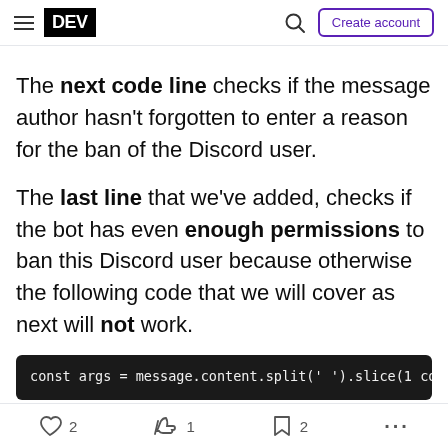DEV | Create account
The next code line checks if the message author hasn't forgotten to enter a reason for the ban of the Discord user.
The last line that we've added, checks if the bot has even enough permissions to ban this Discord user because otherwise the following code that we will cover as next will not work.
[Figure (screenshot): Code block showing JavaScript: const args = message.content.split(' ').slice(1, const user = message.mentions.users.first(); // , const banReason = args.slice(1).join(' '); // R]
2  1  2  ...